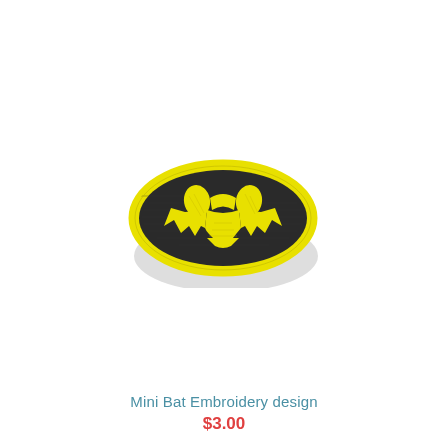[Figure (illustration): Batman embroidery patch logo: a yellow oval background with a dark grey/black bat silhouette in the center. The bat has two rounded wing-spots at top and a jagged wing spread at bottom. The oval has a bright yellow border. The patch has a slight drop shadow and shows embroidery texture lines.]
Mini Bat Embroidery design
$3.00